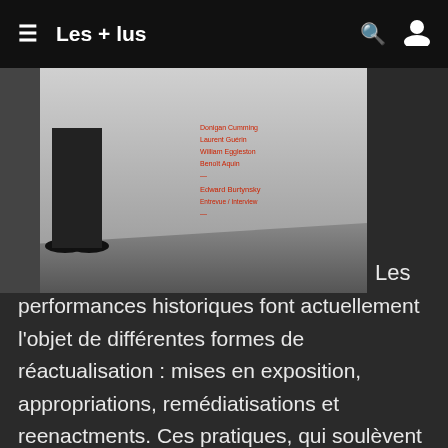≡ Les + lus 🔍 👤
[Figure (photo): Black and white photograph showing the lower body of a person standing against a wall, with text overlay listing artist names in red: Donigan Cumming, Laurent Guérin, William Eggleston, Benoît Aquin, Edward Burtynsky, Entrevue / Interview]
Les performances historiques font actuellement l'objet de différentes formes de réactualisation : mises en exposition, appropriations, remédiatisations et reenactments. Ces pratiques, qui soulèvent un ensemble de questions sur le statut de la documentation de performances (photos, vidéos et films notamment) et sur leurs interprétations, sont abordées dans CV86 à l'aide de multiples exemples